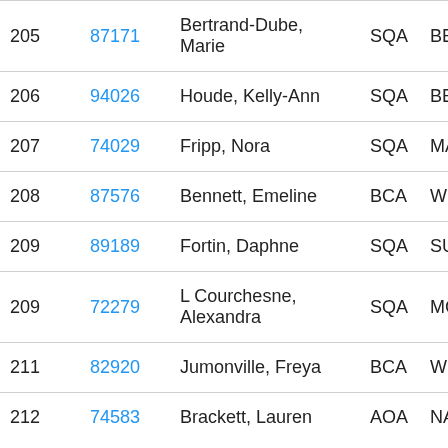| # | ID | Name | Code | ... |
| --- | --- | --- | --- | --- |
| 205 | 87171 | Bertrand-Dube, Marie | SQA | BEL... |
| 206 | 94026 | Houde, Kelly-Ann | SQA | BEL... |
| 207 | 74029 | Fripp, Nora | SQA | MAR... |
| 208 | 87576 | Bennett, Emeline | BCA | WHI... |
| 209 | 89189 | Fortin, Daphne | SQA | SUT... |
| 209 | 72279 | L Courchesne, Alexandra | SQA | MCA... |
| 211 | 82920 | Jumonville, Freya | BCA | WHI... |
| 212 | 74583 | Brackett, Lauren | AOA | NATA... |